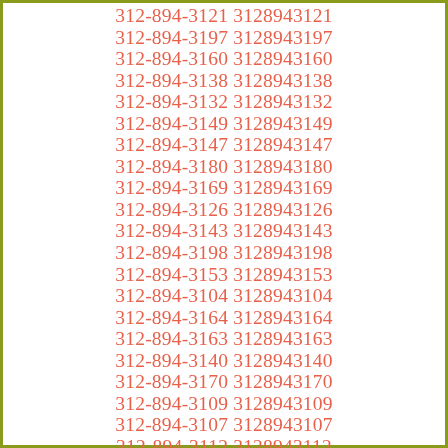312-894-3121 3128943121
312-894-3197 3128943197
312-894-3160 3128943160
312-894-3138 3128943138
312-894-3132 3128943132
312-894-3149 3128943149
312-894-3147 3128943147
312-894-3180 3128943180
312-894-3169 3128943169
312-894-3126 3128943126
312-894-3143 3128943143
312-894-3198 3128943198
312-894-3153 3128943153
312-894-3104 3128943104
312-894-3164 3128943164
312-894-3163 3128943163
312-894-3140 3128943140
312-894-3170 3128943170
312-894-3109 3128943109
312-894-3107 3128943107
312-894-3112 3128943112